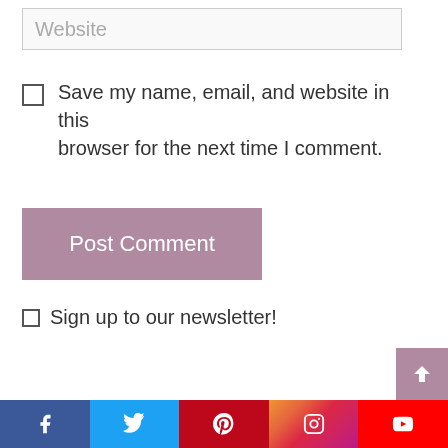Website
Save my name, email, and website in this browser for the next time I comment.
Post Comment
Sign up to our newsletter!
[Figure (screenshot): Social media footer bar with Facebook, Twitter, Pinterest, Instagram, YouTube icons]